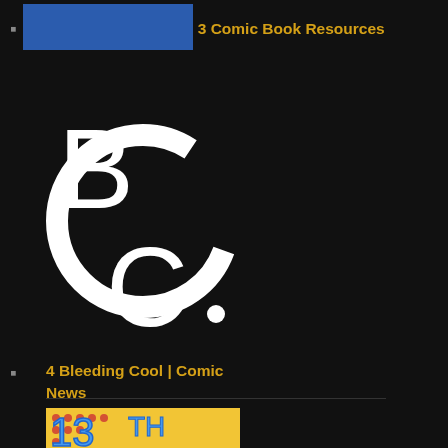3 Comic Book Resources
[Figure (logo): Bleeding Cool BC logo — white stylized letters BC in a circular brush-stroke on black background]
4 Bleeding Cool | Comic News
[Figure (logo): 13th Dimension logo — blue comic-style '13TH' and red 'DIMENSION' text on a dotted yellow/tan background]
5 Comics | Creatives | Culture
[Figure (logo): Partial red and black logo — letters TCI visible, partially cropped at bottom of page]